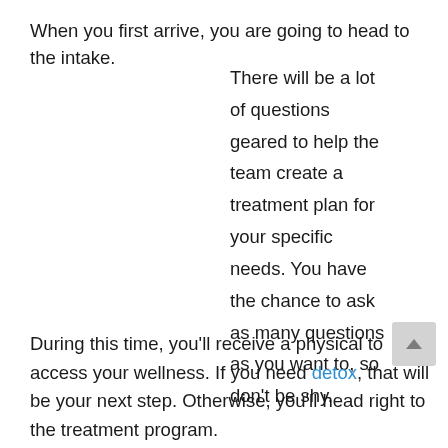When you first arrive, you are going to head to the intake.
There will be a lot of questions geared to help the team create a treatment plan for your specific needs. You have the chance to ask as many questions as you want to, so don't be shy.
During this time, you'll receive a physical to access your wellness. If you need detox, that will be your next step. Otherwise, you'll head right to the treatment program.